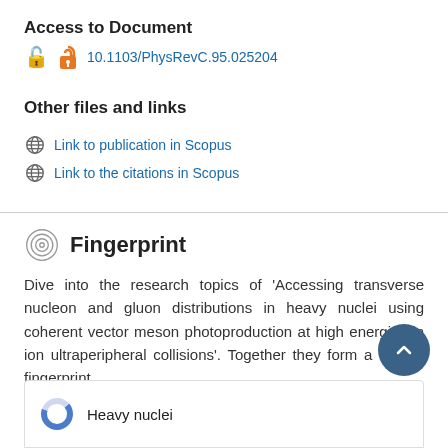Access to Document
10.1103/PhysRevC.95.025204
Other files and links
Link to publication in Scopus
Link to the citations in Scopus
Fingerprint
Dive into the research topics of 'Accessing transverse nucleon and gluon distributions in heavy nuclei using coherent vector meson photoproduction at high energies in ion ultraperipheral collisions'. Together they form a unique fingerprint.
Heavy nuclei